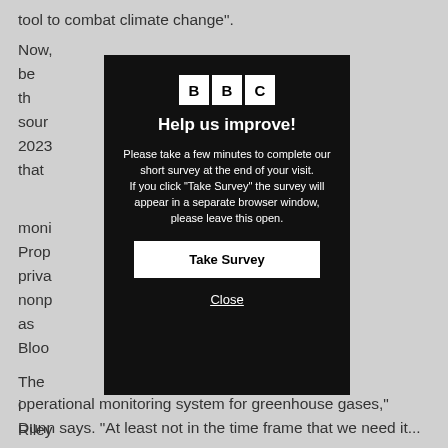tool to combat climate change".
Now, [text obscured] will be th[obscured] nt sour[obscured] n 2023[obscured] 0 that [obscured]
moni[obscured] Jet Prop[obscured] board, priva[obscured] nonp[obscured] ch as Bloo[obscured]
[Figure (screenshot): BBC survey modal overlay on dark background. Contains BBC logo, heading 'Help us improve!', text asking user to take a survey, a 'Take Survey' button, and a 'Close' link.]
The i[obscured] s Riley[obscured] ity of Arizo[obscured] no singl[obscured] nd resou[obscured]
operational monitoring system for greenhouse gases,"
Dunn says. "At least not in the time frame that we need it.